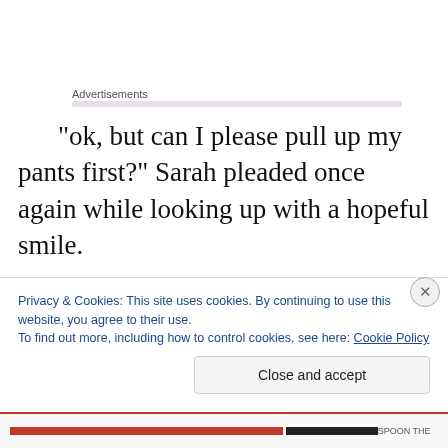Advertisements
"ok, but can I please pull up my pants first?" Sarah pleaded once again while looking up with a hopeful smile.
Leana nodded her approval. Sarah redressed before Leana could change her mind. Not that she would have, but why chance it? Once dressed, they went hand in hand to the kitchen. Leana wasn't one hundred percent on
Privacy & Cookies: This site uses cookies. By continuing to use this website, you agree to their use.
To find out more, including how to control cookies, see here: Cookie Policy
Close and accept